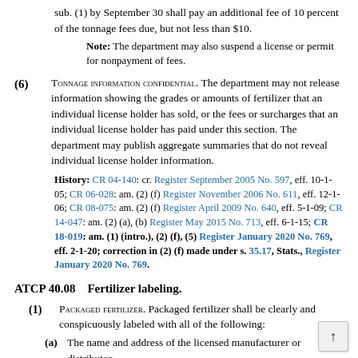sub. (1) by September 30 shall pay an additional fee of 10 percent of the tonnage fees due, but not less than $10.
Note: The department may also suspend a license or permit for nonpayment of fees.
(6) TONNAGE INFORMATION CONFIDENTIAL. The department may not release information showing the grades or amounts of fertilizer that an individual license holder has sold, or the fees or surcharges that an individual license holder has paid under this section. The department may publish aggregate summaries that do not reveal individual license holder information.
History: CR 04-140: cr. Register September 2005 No. 597, eff. 10-1-05; CR 06-028: am. (2) (f) Register November 2006 No. 611, eff. 12-1-06; CR 08-075: am. (2) (f) Register April 2009 No. 640, eff. 5-1-09; CR 14-047: am. (2) (a), (b) Register May 2015 No. 713, eff. 6-1-15; CR 18-019: am. (1) (intro.), (2) (f), (5) Register January 2020 No. 769, eff. 2-1-20; correction in (2) (f) made under s. 35.17, Stats., Register January 2020 No. 769.
ATCP 40.08    Fertilizer labeling.
(1) PACKAGED FERTILIZER. Packaged fertilizer shall be clearly and conspicuously labeled with all of the following:
(a) The name and address of the licensed manufacturer or distributor.
(b) The fertilizer product name.
(c) The fertilizer grade if the fertilizer is represented as